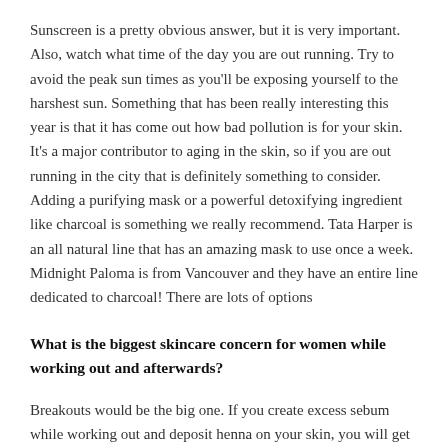Sunscreen is a pretty obvious answer, but it is very important. Also, watch what time of the day you are out running. Try to avoid the peak sun times as you'll be exposing yourself to the harshest sun. Something that has been really interesting this year is that it has come out how bad pollution is for your skin. It's a major contributor to aging in the skin, so if you are out running in the city that is definitely something to consider. Adding a purifying mask or a powerful detoxifying ingredient like charcoal is something we really recommend. Tata Harper is an all natural line that has an amazing mask to use once a week. Midnight Paloma is from Vancouver and they have an entire line dedicated to charcoal! There are lots of options
What is the biggest skincare concern for women while working out and afterwards?
Breakouts would be the big one. If you create excess sebum while working out and deposit henna on your skin, you will get to